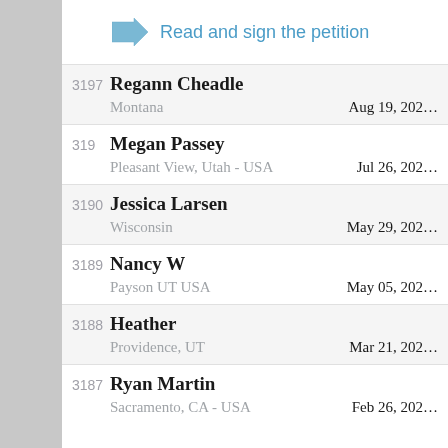Read and sign the petition
| # | Name | Location | Date |
| --- | --- | --- | --- |
| 3197 | Regann Cheadle | Montana | Aug 19, 202… |
| 319 | Megan Passey | Pleasant View, Utah - USA | Jul 26, 202… |
| 3190 | Jessica Larsen | Wisconsin | May 29, 202… |
| 3189 | Nancy W | Payson UT USA | May 05, 202… |
| 3188 | Heather | Providence, UT | Mar 21, 202… |
| 3187 | Ryan Martin | Sacramento, CA - USA | Feb 26, 202… |